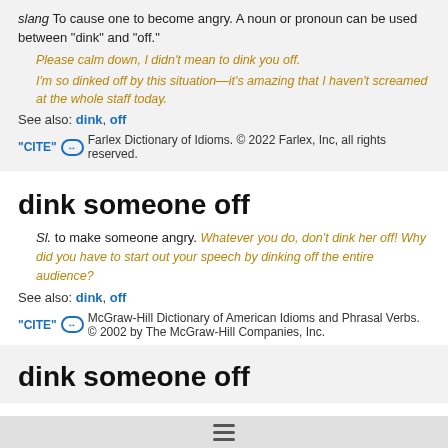slang To cause one to become angry. A noun or pronoun can be used between "dink" and "off."
Please calm down, I didn't mean to dink you off.
I'm so dinked off by this situation—it's amazing that I haven't screamed at the whole staff today.
See also: dink, off
"CITE" 🔗  Farlex Dictionary of Idioms. © 2022 Farlex, Inc, all rights reserved.
dink someone off
Sl. to make someone angry. Whatever you do, don't dink her off! Why did you have to start out your speech by dinking off the entire audience?
See also: dink, off
"CITE" 🔗  McGraw-Hill Dictionary of American Idioms and Phrasal Verbs. © 2002 by The McGraw-Hill Companies, Inc.
dink someone off